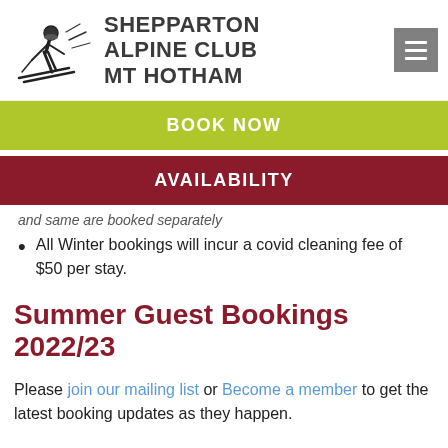[Figure (logo): Shepparton Alpine Club Mt Hotham logo with skier illustration and text]
BOOK NOW
AVAILABILITY
and same are booked separately
All Winter bookings will incur a covid cleaning fee of $50 per stay.
Summer Guest Bookings 2022/23
Please join our mailing list or Become a member to get the latest booking updates as they happen.